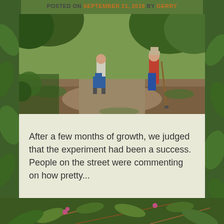POSTED ON SEPTEMBER 21, 2019 BY GERRY
[Figure (photo): Two people working outdoors in a garden or woodland clearing. One person in a red flannel shirt and cap uses a long-handled tool, the other person wears a light top and jeans. Surrounded by green trees and bushes.]
After a few months of growth, we judged that the experiment had been a success. People on the street were commenting on how pretty...
[Figure (photo): Close-up of green leafy bramble or raspberry bushes with visible stems and some small flowers or fruits.]